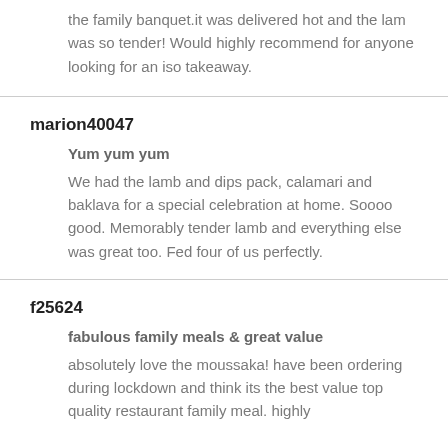the family banquet.it was delivered hot and the lam was so tender! Would highly recommend for anyone looking for an iso takeaway.
marion40047
Yum yum yum
We had the lamb and dips pack, calamari and baklava for a special celebration at home. Soooo good. Memorably tender lamb and everything else was great too. Fed four of us perfectly.
f25624
fabulous family meals & great value
absolutely love the moussaka! have been ordering during lockdown and think its the best value top quality restaurant family meal. highly